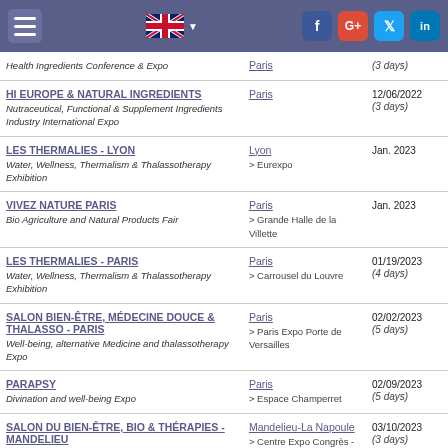Navigation header with menu, UK flag, and social media icons (Facebook, Google+, Twitter, LinkedIn)
| Event | City/Venue | Date |
| --- | --- | --- |
| Health Ingredients Conference & Expo | Paris | (3 days) |
| HI EUROPE & NATURAL INGREDIENTS
Nutraceutical, Functional & Supplement Ingredients Industry International Expo | Paris | 12/06/2022
(3 days) |
| LES THERMALIES - LYON
Water, Wellness, Thermalism & Thalassotherapy Exhibition | Lyon
> Eurexpo | Jan. 2023 |
| VIVEZ NATURE PARIS
Bio Agriculture and Natural Products Fair | Paris
> Grande Halle de la Villette | Jan. 2023 |
| LES THERMALIES - PARIS
Water, Wellness, Thermalism & Thalassotherapy Exhibition | Paris
> Carrousel du Louvre | 01/19/2023
(4 days) |
| SALON BIEN-ÊTRE, MÉDECINE DOUCE & THALASSO - PARIS
Well-being, alternative Medicine and thalassotherapy Expo | Paris
> Paris Expo Porte de Versailles | 02/02/2023
(5 days) |
| PARAPSY
Divination and well-being Expo | Paris
> Espace Champerret | 02/09/2023
(5 days) |
| SALON DU BIEN-ÊTRE, BIO & THÉRAPIES - MANDELIEU
Exhibition & conferences dedicated to Wellness, Organic Food & Therapy | Mandelieu-La Napoule
> Centre Expo Congrès - Mandelieu-la-Napoule | 03/10/2023
(3 days) |
| SALON BIEN-ÊTRE, MÉDECINE DOUCE & | Lyon | 03/24/2023 |